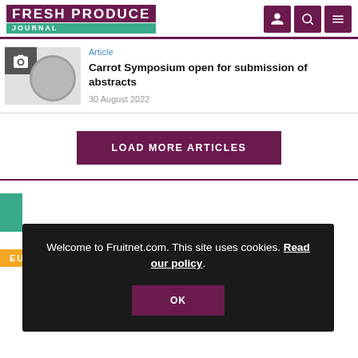FRESH PRODUCE JOURNAL
Article
Carrot Symposium open for submission of abstracts
30 August 2022
LOAD MORE ARTICLES
Welcome to Fruitnet.com. This site uses cookies. Read our policy.
OK
EUROFRUIT